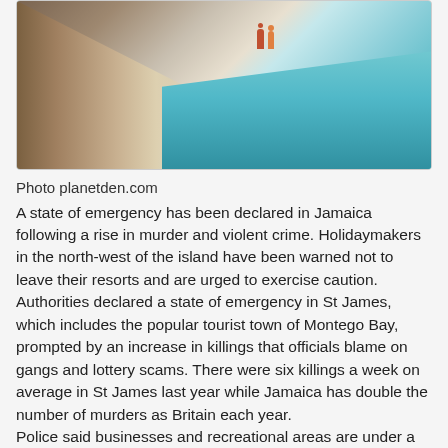[Figure (photo): Aerial view of a beach with turquoise water and sandy shore; two people standing at the water's edge]
Photo planetden.com
A state of emergency has been declared in Jamaica following a rise in murder and violent crime. Holidaymakers in the north-west of the island have been warned not to leave their resorts and are urged to exercise caution. Authorities declared a state of emergency in St James, which includes the popular tourist town of Montego Bay, prompted by an increase in killings that officials blame on gangs and lottery scams. There were six killings a week on average in St James last year while Jamaica has double the number of murders as Britain each year.
Police said businesses and recreational areas are under a temporary curfew and the state of emergency allows them to search areas without a warrant.
Authorities also have imposed a curfew in parts of St. Catherine parish located just west of the capital of Kingston. Police said they are taking a zero-tolerance approach to crime while a major military operation is underway in parts of